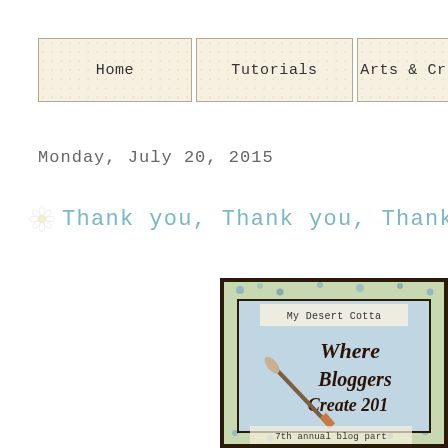[Figure (screenshot): Navigation bar with three buttons: Home, Tutorials, Arts & Cr(afts) on a damask-patterned cream background]
Monday, July 20, 2015
Thank you, Thank you, Thank...
[Figure (photo): Blog party image for 'My Desert Cottage - Where Bloggers Create 2015, 7th annual blog party' with floral border and paintbrush on blue damask background]